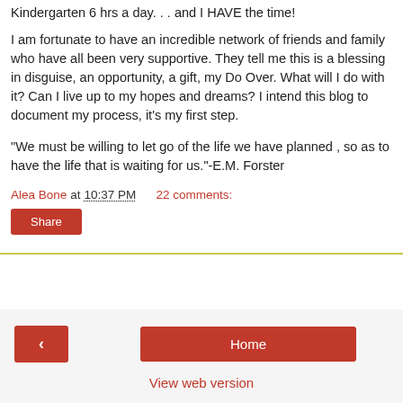Kindergarten 6 hrs a day. . . and I HAVE the time!
I am fortunate to have an incredible network of friends and family who have all been very supportive. They tell me this is a blessing in disguise, an opportunity, a gift, my Do Over. What will I do with it? Can I live up to my hopes and dreams? I intend this blog to document my process, it's my first step.
"We must be willing to let go of the life we have planned , so as to have the life that is waiting for us."-E.M. Forster
Alea Bone at 10:37 PM   22 comments:
Share
‹
Home
View web version